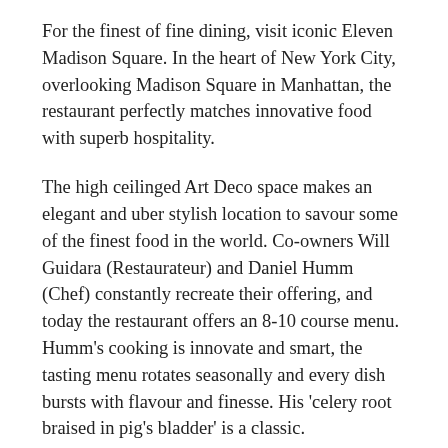For the finest of fine dining, visit iconic Eleven Madison Square. In the heart of New York City, overlooking Madison Square in Manhattan, the restaurant perfectly matches innovative food with superb hospitality.
The high ceilinged Art Deco space makes an elegant and uber stylish location to savour some of the finest food in the world. Co-owners Will Guidara (Restaurateur) and Daniel Humm (Chef) constantly recreate their offering, and today the restaurant offers an 8-10 course menu. Humm's cooking is innovate and smart, the tasting menu rotates seasonally and every dish bursts with flavour and finesse. His 'celery root braised in pig's bladder' is a classic.
As for hospitality, the restaurant's 'Dreamweavers'